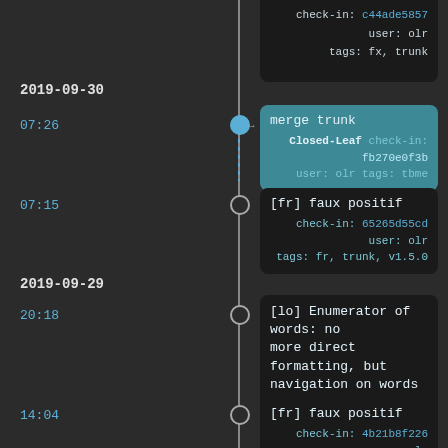check-in: c44ade5857 user: olr
tags: fx, trunk
2019-09-30
07:26
merge trunk
Closed-Leaf check-in: fb270e0f3b
user: olr tags: tbme
07:15
[fr] faux positif
check-in: 65265d55cd user: olr
tags: fr, trunk, v1.5.0
2019-09-29
20:18
[lo] Enumerator of words: no more direct formatting, but navigation on words
check-in: d5be21fa1a user: olr
tags: lo, trunk
14:04
[fr] faux positif
check-in: 4b21b8f226 user: olr